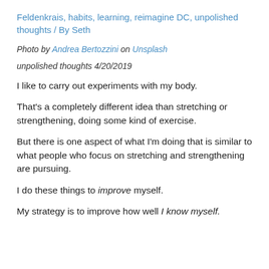Feldenkrais, habits, learning, reimagine DC, unpolished thoughts / By Seth
Photo by Andrea Bertozzini on Unsplash
unpolished thoughts 4/20/2019
I like to carry out experiments with my body.
That's a completely different idea than stretching or strengthening, doing some kind of exercise.
But there is one aspect of what I'm doing that is similar to what people who focus on stretching and strengthening are pursuing.
I do these things to improve myself.
My strategy is to improve how well I know myself.